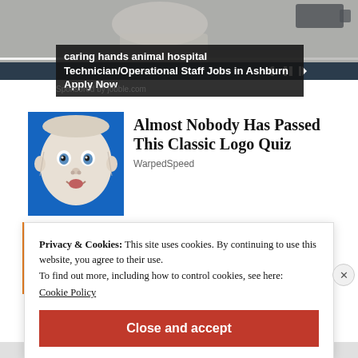[Figure (screenshot): Top portion of a video player with a person in white clothing visible, with playback controls overlay and a progress bar]
caring hands animal hospital Technician/Operational Staff Jobs in Ashburn Apply Now
Sponsored by jobble.com
[Figure (illustration): Illustrated baby face with wide eyes on a blue background — classic logo quiz advertisement image]
Almost Nobody Has Passed This Classic Logo Quiz
WarpedSpeed
Privacy & Cookies: This site uses cookies. By continuing to use this website, you agree to their use.
To find out more, including how to control cookies, see here:
Cookie Policy
Close and accept